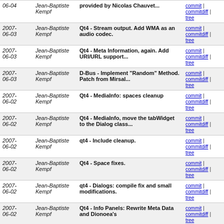| Date | Author | Message | Links |
| --- | --- | --- | --- |
| 2007-06-04 | Jean-Baptiste Kempf | provided by Nicolas Chauvet... | commit | commitdiff | tree |
| 2007-06-03 | Jean-Baptiste Kempf | Qt4 - Stream output. Add WMA as an audio codec. | commit | commitdiff | tree |
| 2007-06-03 | Jean-Baptiste Kempf | Qt4 - Meta Information, again. Add URI/URL support... | commit | commitdiff | tree |
| 2007-06-03 | Jean-Baptiste Kempf | D-Bus - Implement "Random" Method. Patch from Mirsal... | commit | commitdiff | tree |
| 2007-06-02 | Jean-Baptiste Kempf | Qt4 - MediaInfo: spaces cleanup | commit | commitdiff | tree |
| 2007-06-02 | Jean-Baptiste Kempf | Qt4 - MediaInfo, move the tabWidget to the Dialog class... | commit | commitdiff | tree |
| 2007-06-02 | Jean-Baptiste Kempf | qt4 - Include cleanup. | commit | commitdiff | tree |
| 2007-06-02 | Jean-Baptiste Kempf | Qt4 - Space fixes. | commit | commitdiff | tree |
| 2007-06-02 | Jean-Baptiste Kempf | qt4 - Dialogs: compile fix and small modifications. | commit | commitdiff | tree |
| 2007-06-02 | Jean-Baptiste Kempf | Qt4 - Info Panels: Rewrite Meta Data and Dionoea's... | commit | commitdiff | tree |